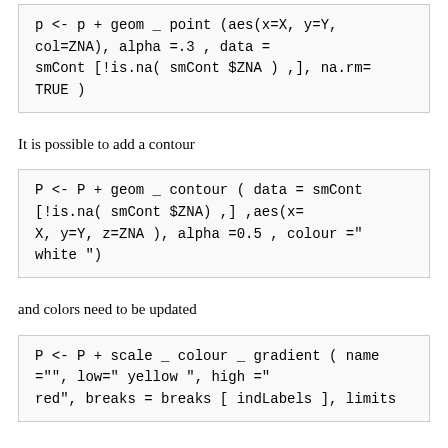p <- p + geom _ point (aes(x=X, y=Y, col=ZNA), alpha =.3 , data = smCont [!is.na( smCont $ZNA ) ,], na.rm= TRUE )
It is possible to add a contour
P <- P + geom _ contour ( data = smCont [!is.na( smCont $ZNA) ,] ,aes(x= X, y=Y, z=ZNA ), alpha =0.5 , colour ="white ")
and colors need to be updated
P <- P + scale _ colour _ gradient ( name ="", low=" yellow ", high ="red", breaks = breaks [ indLabels ], limits